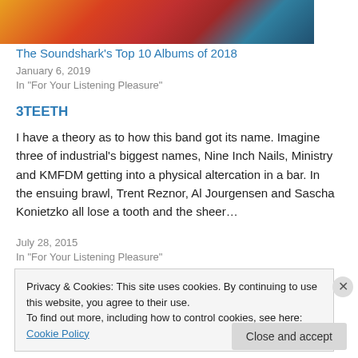[Figure (photo): Colorful abstract image with red, orange, yellow and blue tones, cropped at top]
The Soundshark's Top 10 Albums of 2018
January 6, 2019
In "For Your Listening Pleasure"
3TEETH
I have a theory as to how this band got its name. Imagine three of industrial's biggest names, Nine Inch Nails, Ministry and KMFDM getting into a physical altercation in a bar. In the ensuing brawl, Trent Reznor, Al Jourgensen and Sascha Konietzko all lose a tooth and the sheer...
July 28, 2015
In "For Your Listening Pleasure"
Privacy & Cookies: This site uses cookies. By continuing to use this website, you agree to their use.
To find out more, including how to control cookies, see here: Cookie Policy
Close and accept